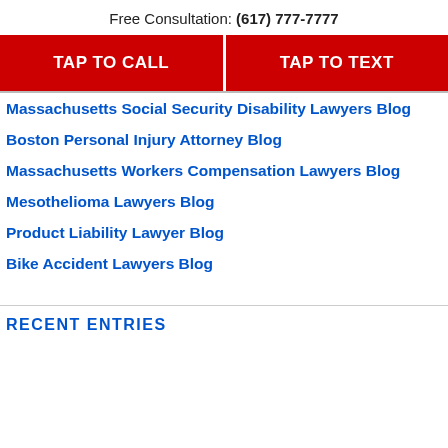Free Consultation: (617) 777-7777
TAP TO CALL | TAP TO TEXT
Massachusetts Social Security Disability Lawyers Blog
Boston Personal Injury Attorney Blog
Massachusetts Workers Compensation Lawyers Blog
Mesothelioma Lawyers Blog
Product Liability Lawyer Blog
Bike Accident Lawyers Blog
RECENT ENTRIES